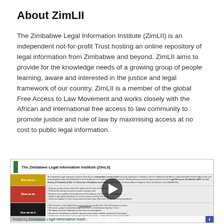About ZimLII
The Zimbabwe Legal Information Institute (ZimLII) is an independent not-for-profit Trust hosting an online repository of legal information from Zimbabwe and beyond. ZimLII aims to provide for the knowledge needs of a growing group of people learning, aware and interested in the justice and legal framework of our country. ZimLII is a member of the global Free Access to Law Movement and works closely with the African and international free access to law community to promote justice and rule of law by maximising access at no cost to public legal information.
[Figure (screenshot): Screenshot of ZimLII website infographic showing 'The Zimbabwe Legal Information Institute (ZimLII)' with sections: Who we are (yellow), What we do (red), How we do it (black). A video play button overlay is visible in the center. Footer reads 'Posted by Zimbabwe Legal Information Instit...' with a Facebook icon.]